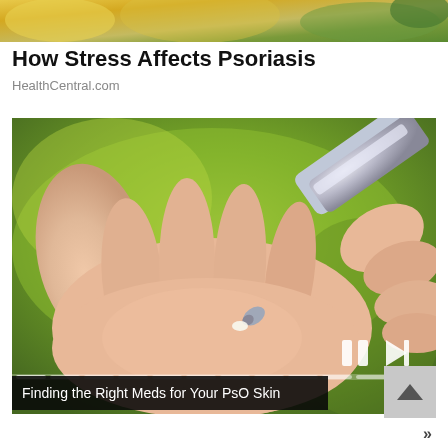[Figure (photo): Partial top image showing colorful background, cropped at top of page]
How Stress Affects Psoriasis
HealthCentral.com
[Figure (photo): Close-up photo of a hand with a cream/medication tube being applied to it, with a green blurred background. Video player controls visible including pause and skip buttons. Progress bar at the bottom.]
Finding the Right Meds for Your PsO Skin